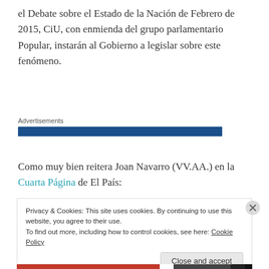el Debate sobre el Estado de la Nación de Febrero de 2015, CiU, con enmienda del grupo parlamentario Popular, instarán al Gobierno a legislar sobre este fenómeno.
[Figure (other): Advertisements bar: dark blue horizontal bar below 'Advertisements' label]
Como muy bien reitera Joan Navarro (VV.AA.) en la Cuarta Página de El País:
Privacy & Cookies: This site uses cookies. By continuing to use this website, you agree to their use.
To find out more, including how to control cookies, see here: Cookie Policy
Close and accept